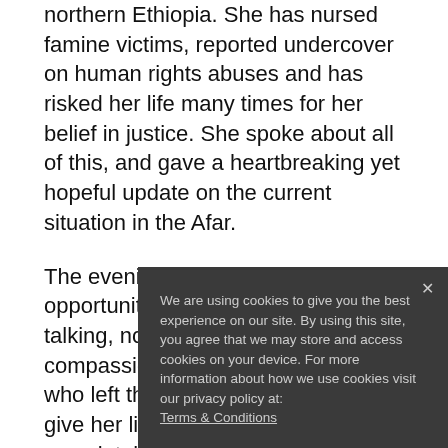northern Ethiopia. She has nursed famine victims, reported undercover on human rights abuses and has risked her life many times for her belief in justice. She spoke about all of this, and gave a heartbreaking yet hopeful update on the current situation in the Afar.
The evening was a wonderful opportunity to hear from a straight-talking, no-nonsense, compassionate and selfless woman who left the comforts of Australia to give her life to serving in a completely different culture in one of the harshest places on ea...
You can read more ab... Afar Pastoralist Dev...
We are currently supp... the Afar region. The s... population of the Afa... oriented programs in...
We are using cookies to give you the best experience on our site. By using this site, you agree that we may store and access cookies on your device. For more information about how we use cookies visit our privacy policy at: Terms & Conditions